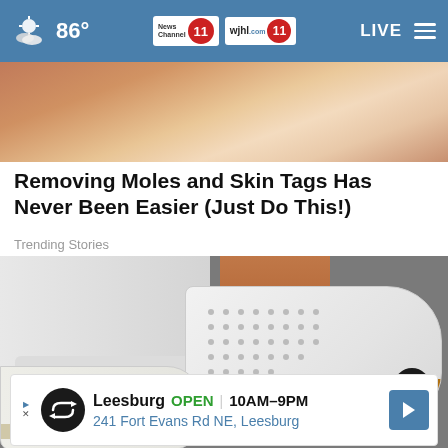86° — News Channel 11 / wjhl.com 11 — LIVE
[Figure (photo): Close-up photo of a person's face and hand, skin tones visible]
Removing Moles and Skin Tags Has Never Been Easier (Just Do This!)
Trending Stories
[Figure (photo): Close-up photo of a person wearing white pants and white perforated slip-on shoes with brown/gold stripe accents, walking on pavement]
Leesburg  OPEN  10AM–9PM  241 Fort Evans Rd NE, Leesburg